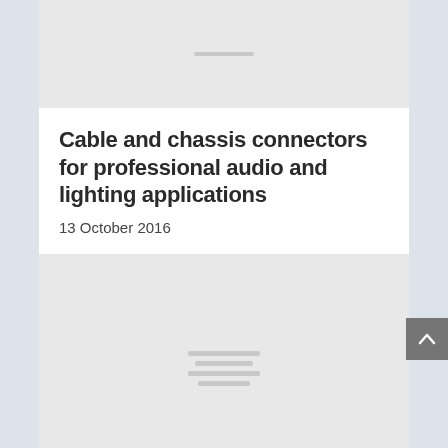[Figure (photo): Placeholder image at top of page with loading indicator lines]
Cable and chassis connectors for professional audio and lighting applications
13 October 2016
[Figure (photo): Placeholder image for second article with loading indicator lines]
Regulator IC for LED-lighting